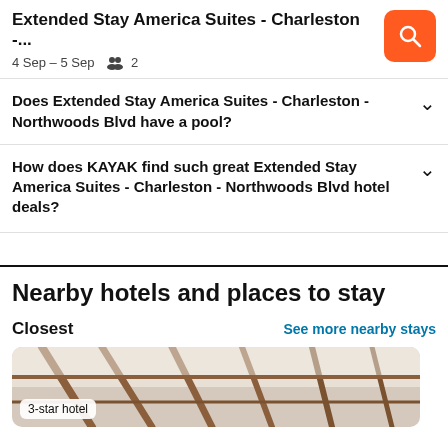Extended Stay America Suites - Charleston -... 4 Sep – 5 Sep  2
Does Extended Stay America Suites - Charleston - Northwoods Blvd have a pool?
How does KAYAK find such great Extended Stay America Suites - Charleston - Northwoods Blvd hotel deals?
Nearby hotels and places to stay
Closest
See more nearby stays
[Figure (photo): Hotel interior photo showing wooden beam ceiling structure, with a '3-star hotel' badge overlay]
3-star hotel